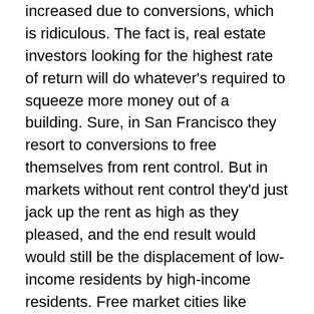increased due to conversions, which is ridiculous. The fact is, real estate investors looking for the highest rate of return will do whatever's required to squeeze more money out of a building. Sure, in San Francisco they resort to conversions to free themselves from rent control. But in markets without rent control they'd just jack up the rent as high as they pleased, and the end result would would still be the displacement of low-income residents by high-income residents. Free market cities like Portland, Austin and Denver have gentrified rapidly over the past 15 years.
Seriously, the authors are totally clueless on this point. They're so busy fondling their data that they completely ignore the reality of what's been happening in San Francisco. As the Bay Area has become a tech hub, wave after wave of high-paid employees have flocked to the city. Seeing this, real estate investors have bought up all the